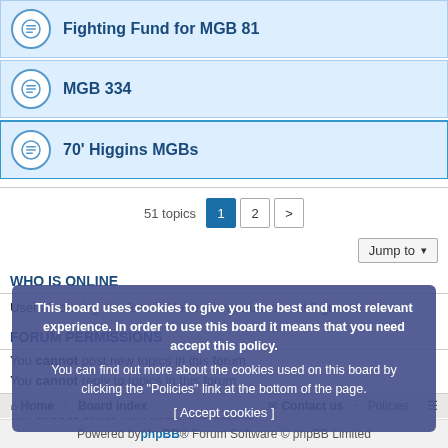Fighting Fund for MGB 81
MGB 334
70' Higgins MGBs
51 topics  1  2  >
Jump to
WHO IS ONLINE
Users browsing this forum: No registered users and 2 guests
FORUM PERMISSIONS
You cannot post new topics in this forum
You cannot reply to topics in this forum
You cannot edit your posts in this forum
You cannot delete your posts in this forum
You cannot post attachments in this forum
This board uses cookies to give you the best and most relevant experience. In order to use this board it means that you need accept this policy. You can find out more about the cookies used on this board by clicking the "Policies" link at the bottom of the page. [ Accept cookies ]
Home • Board index   Contact us • Policies
Powered by phpBB® Forum Software © phpBB Limited